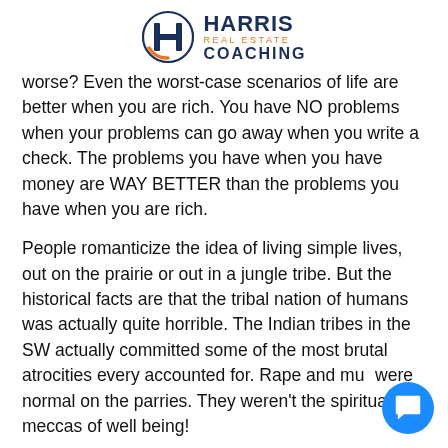[Figure (logo): Harris Real Estate Coaching logo: circular icon with H shape and orange arc, next to bold navy HARRIS text, orange REAL ESTATE subtitle, and navy COACHING text.]
worse? Even the worst-case scenarios of life are better when you are rich. You have NO problems when your problems can go away when you write a check. The problems you have when you have money are WAY BETTER than the problems you have when you are rich.
People romanticize the idea of living simple lives, out on the prairie or out in a jungle tribe. But the historical facts are that the tribal nation of humans was actually quite horrible. The Indian tribes in the SW actually committed some of the most brutal atrocities every accounted for. Rape and mur were normal on the parries. They weren't the spiritual meccas of well being!